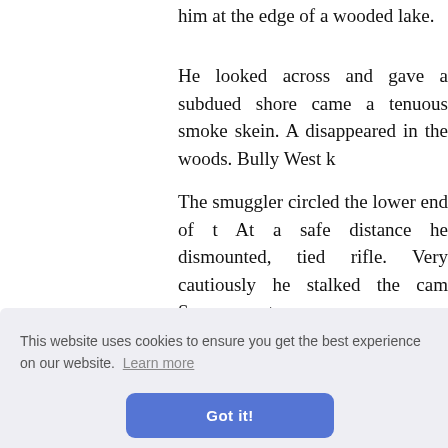him at the edge of a wooded lake.
He looked across and gave a subdued shore came a tenuous smoke skein. A disappeared in the woods. Bully West k
The smuggler circled the lower end of t At a safe distance he dismounted, tied rifle. Very cautiously he stalked the cam Sarcee scout.
Camp had been pitched in a small oper the south side, he picked a way, pushi ge body. e of a sn
them—b tdoors m ird any p
No longer wary, West broke through the